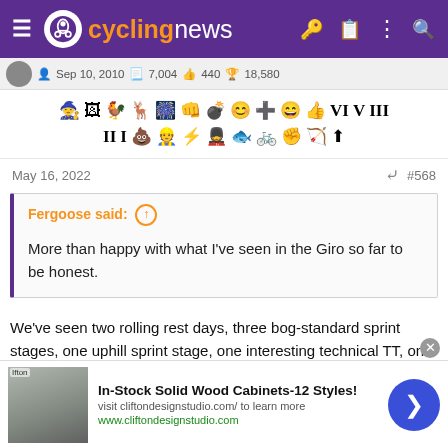cyclingnews
Sep 10, 2010  7,004  440  18,580
[Figure (other): Row of forum achievement/badge icons and roman numerals]
May 16, 2022  #568
Fergoose said: ↑
More than happy with what I've seen in the Giro so far to be honest.
We've seen two rolling rest days, three bog-standard sprint stages, one uphill sprint stage, one interesting technical TT, one damp squib of a mountain top finish and one not so damp. I'd be wary of anyone drawing any conclusions from that.
In-Stock Solid Wood Cabinets-12 Styles!
visit cliftondesignstudio.com/ to learn more
www.cliftondesignstudio.com